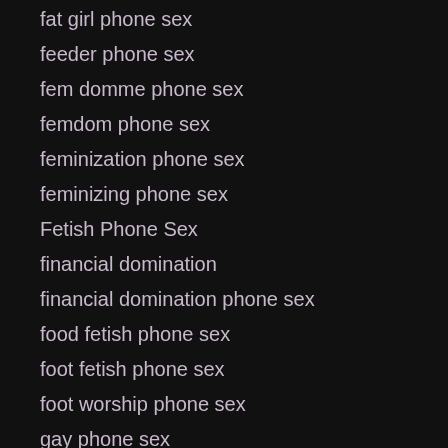fat girl phone sex
feeder phone sex
fem domme phone sex
femdom phone sex
feminization phone sex
feminizing phone sex
Fetish Phone Sex
financial domination
financial domination phone sex
food fetish phone sex
foot fetish phone sex
foot worship phone sex
gay phone sex
GFE phone sex
giantess phone sex